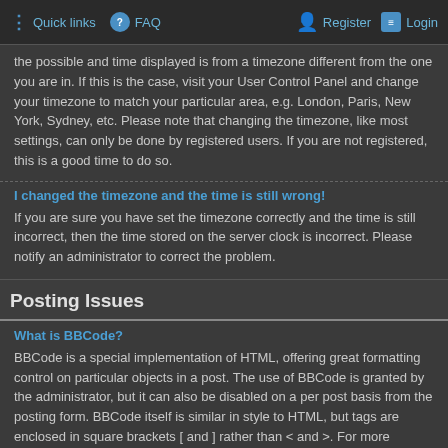Quick links  FAQ  Register  Login
the possible and time displayed is from a timezone different from the one you are in. If this is the case, visit your User Control Panel and change your timezone to match your particular area, e.g. London, Paris, New York, Sydney, etc. Please note that changing the timezone, like most settings, can only be done by registered users. If you are not registered, this is a good time to do so.
I changed the timezone and the time is still wrong!
If you are sure you have set the timezone correctly and the time is still incorrect, then the time stored on the server clock is incorrect. Please notify an administrator to correct the problem.
Posting Issues
What is BBCode?
BBCode is a special implementation of HTML, offering great formatting control on particular objects in a post. The use of BBCode is granted by the administrator, but it can also be disabled on a per post basis from the posting form. BBCode itself is similar in style to HTML, but tags are enclosed in square brackets [ and ] rather than < and >. For more information on BBCode see the guide.
Can I post images?